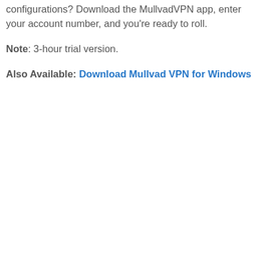configurations? Download the MullvadVPN app, enter your account number, and you're ready to roll.
Note: 3-hour trial version.
Also Available: Download Mullvad VPN for Windows